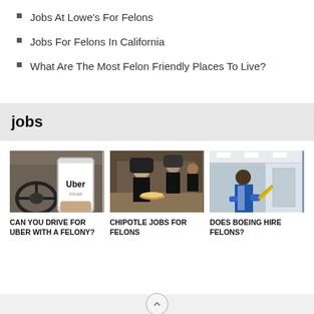Jobs At Lowe's For Felons
Jobs For Felons In California
What Are The Most Felon Friendly Places To Live?
jobs
[Figure (photo): Person holding phone showing Uber app inside a car]
CAN YOU DRIVE FOR UBER WITH A FELONY?
[Figure (photo): Chipotle restaurant workers in black uniforms behind counter]
CHIPOTLE JOBS FOR FELONS
[Figure (photo): Boeing factory worker in blue uniform working on assembly line]
DOES BOEING HIRE FELONS?